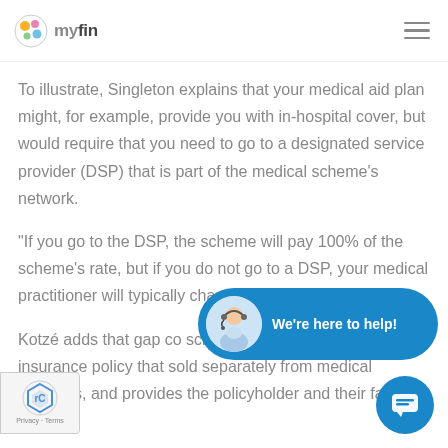myfin
To illustrate, Singleton explains that your medical aid plan might, for example, provide you with in-hospital cover, but would require that you need to go to a designated service provider (DSP) that is part of the medical scheme's network.
“If you go to the DSP, the scheme will pay 100% of the scheme’s rate, but if you do not go to a DSP, your medical practitioner will typically charge three or four t
Kotzé adds that gap co scheme product. “It is an insurance policy that sold separately from medical schemes, and provides the policyholder and their family with
[Figure (other): Chat support widget showing a man with headset and text 'We're here to help!' on blue rounded rectangle background]
[Figure (other): Blue circular chat button icon with speech bubble]
[Figure (other): reCAPTCHA Privacy + Terms badge]